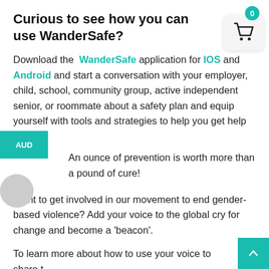Curious to see how you can use WanderSafe?
Download the WanderSafe application for IOS and Android and start a conversation with your employer, child, school, community group, active independent senior, or roommate about a safety plan and equip yourself with tools and strategies to help you get help faster.
An ounce of prevention is worth more than a pound of cure!
Want to get involved in our movement to end gender-based violence? Add your voice to the global cry for change and become a 'beacon'.
To learn more about how to use your voice to share the #BetheBeacon, #16DaysofActivism, #HeforShe movement